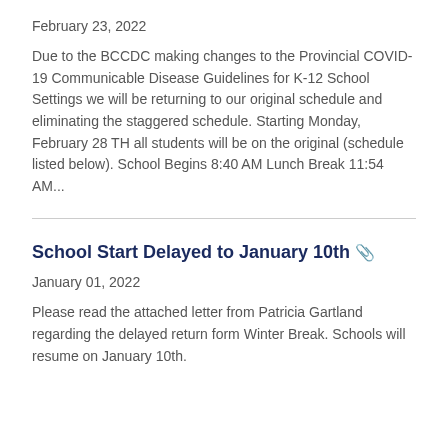February 23, 2022
Due to the BCCDC making changes to the Provincial COVID-19 Communicable Disease Guidelines for K-12 School Settings we will be returning to our original schedule and eliminating the staggered schedule. Starting Monday, February 28 TH all students will be on the original (schedule listed below). School Begins 8:40 AM Lunch Break 11:54 AM...
School Start Delayed to January 10th
January 01, 2022
Please read the attached letter from Patricia Gartland regarding the delayed return form Winter Break. Schools will resume on January 10th.